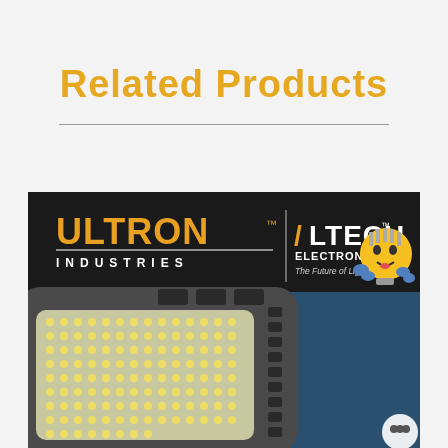Related Products
[Figure (photo): Ultron Industries / Altech Electronics LED area light product image. Dark background with company logos at top including a cartoon light bulb mascot with a yellow triangle in the corner. Below shows a close-up of a large LED area/parking lot light fixture with multiple LED modules in dark gray housing against a blue background.]